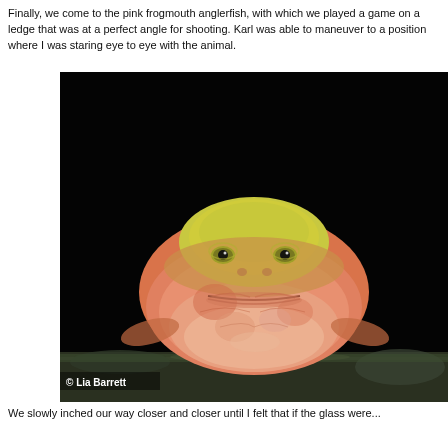Finally, we come to the pink frogmouth anglerfish, with which we played a game on a ledge that was at a perfect angle for shooting. Karl was able to maneuver to a position where I was staring eye to eye with the animal.
[Figure (photo): Close-up front-facing photograph of a pink/orange frogmouth anglerfish with yellow-green coloring around the top, resting on a rocky ledge against a dark black background. The fish has a wide flat head, large forward-facing eyes, and distinctive orange-pink mottled skin. Photo credit: © Lia Barrett]
We slowly inched our way closer and closer until I felt that if the glass were...